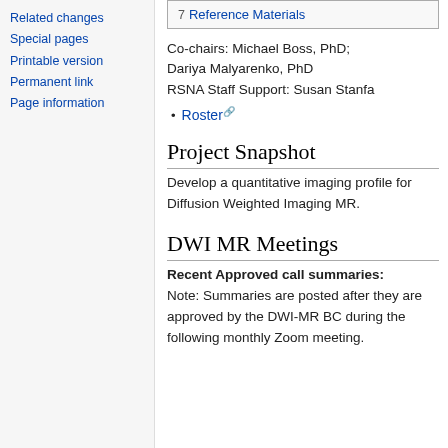Related changes
Special pages
Printable version
Permanent link
Page information
| 7  Reference Materials |
Co-chairs: Michael Boss, PhD; Dariya Malyarenko, PhD
RSNA Staff Support: Susan Stanfa
Roster
Project Snapshot
Develop a quantitative imaging profile for Diffusion Weighted Imaging MR.
DWI MR Meetings
Recent Approved call summaries:
Note: Summaries are posted after they are approved by the DWI-MR BC during the following monthly Zoom meeting.